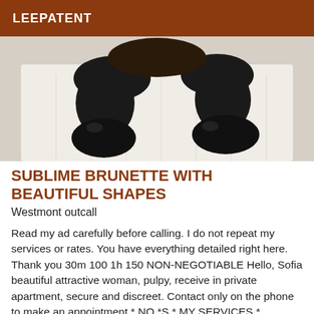LEEPATENT
[Figure (photo): Photo of a person lying on a white bed, legs visible with black high-heeled boots]
SUBLIME BRUNETTE WITH BEAUTIFUL SHAPES
Westmont outcall
Read my ad carefully before calling. I do not repeat my services or rates. You have everything detailed right here. Thank you 30m 100 1h 150 NON-NEGOTIABLE Hello, Sofia beautiful attractive woman, pulpy, receive in private apartment, secure and discreet. Contact only on the phone to make an appointment * NO *S * MY SERVICES * Massage * 69 * Caresses * Spanish handjob... (ALWAYS PROTECTED) * Protected...